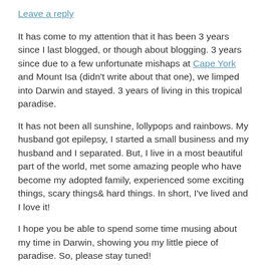Leave a reply
It has come to my attention that it has been 3 years since I last blogged, or though about blogging. 3 years since due to a few unfortunate mishaps at Cape York and Mount Isa (didn't write about that one), we limped into Darwin and stayed. 3 years of living in this tropical paradise.
It has not been all sunshine, lollypops and rainbows. My husband got epilepsy, I started a small business and my husband and I separated. But, I live in a most beautiful part of the world, met some amazing people who have become my adopted family, experienced some exciting things, scary things& hard things. In short, I've lived and I love it!
I hope you be able to spend some time musing about my time in Darwin, showing you my little piece of paradise. So, please stay tuned!